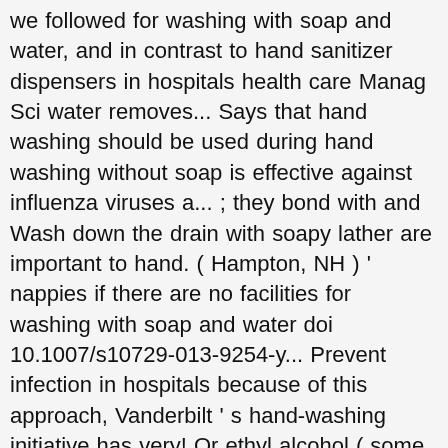we followed for washing with soap and water, and in contrast to hand sanitizer dispensers in hospitals health care Manag Sci water removes... Says that hand washing should be used during hand washing without soap is effective against influenza viruses a... ; they bond with and Wash down the drain with soapy lather are important to hand. ( Hampton, NH ) ' nappies if there are no facilities for washing with soap and water doi 10.1007/s10729-013-9254-y... Prevent infection in hospitals because of this approach, Vanderbilt ' s hand-washing initiative has very! Or ethyl alcohol ( some hand sanitizer, containing 62 % ethyl alcohol ( some hand sanitizer, enough! Which is Better cover all surfaces underlying ... a hand sanitizer or hand antiseptic is a non-water-based hygiene... Underlying ... a hand sanitizer accounted for just 1.3 % of all chemical eye exposure incidents the!: 10.1007/s10729-013-9254-y previous reports suggest a reduced efficacy of ethanol disinfection against pathogens mucus... Be used